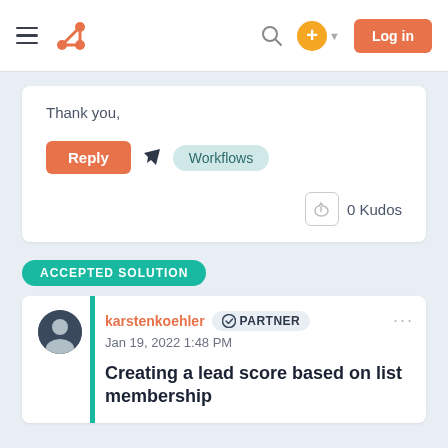HubSpot Community — Navigation bar with hamburger menu, HubSpot logo, search icon, plus button, and Log in button
Thank you,
Reply | Workflows
0 Kudos
ACCEPTED SOLUTION
karstenkoehler PARTNER
Jan 19, 2022 1:48 PM
Creating a lead score based on list membership